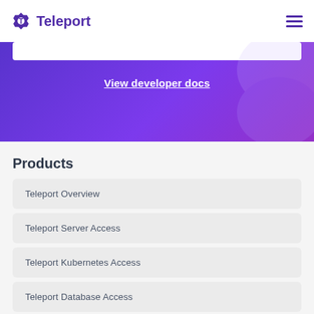Teleport
View developer docs
Products
Teleport Overview
Teleport Server Access
Teleport Kubernetes Access
Teleport Database Access
Teleport Application Access